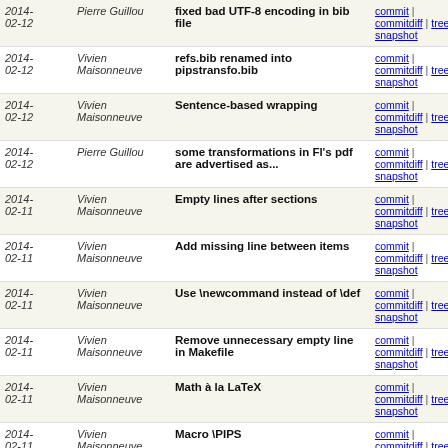| Date | Author | Commit message | Actions |
| --- | --- | --- | --- |
| 2014-02-12 | Pierre Guillou | fixed bad UTF-8 encoding in bib file | commit | commitdiff | tree | snapshot |
| 2014-02-12 | Vivien Maisonneuve | refs.bib renamed into pipstransfo.bib | commit | commitdiff | tree | snapshot |
| 2014-02-12 | Vivien Maisonneuve | Sentence-based wrapping | commit | commitdiff | tree | snapshot |
| 2014-02-12 | Pierre Guillou | some transformations in Fl's pdf are advertised as... | commit | commitdiff | tree | snapshot |
| 2014-02-11 | Vivien Maisonneuve | Empty lines after sections | commit | commitdiff | tree | snapshot |
| 2014-02-11 | Vivien Maisonneuve | Add missing line between items | commit | commitdiff | tree | snapshot |
| 2014-02-11 | Vivien Maisonneuve | Use \newcommand instead of \def | commit | commitdiff | tree | snapshot |
| 2014-02-11 | Vivien Maisonneuve | Remove unnecessary empty line in Makefile | commit | commitdiff | tree | snapshot |
| 2014-02-11 | Vivien Maisonneuve | Math à la LaTeX | commit | commitdiff | tree | snapshot |
| 2014-02-11 | Vivien Maisonneuve | Macro \PIPS | commit | commitdiff | tree | snapshot |
| 2014-02-11 | Vivien Maisonneuve | Pips -> PIPS | commit | commitdiff | tree | snapshot |
| 2014-02-11 | Vivien Maisonneuve | Remove extra spaces at EOL | commit | commitdiff | tree | snapshot |
| 2014-02-11 | Pierre Guillou | ordering of sguelton transformations | commit | commitdiff | tree | snapshot |
| 2014- | Pierre Guillou | added references | commit |